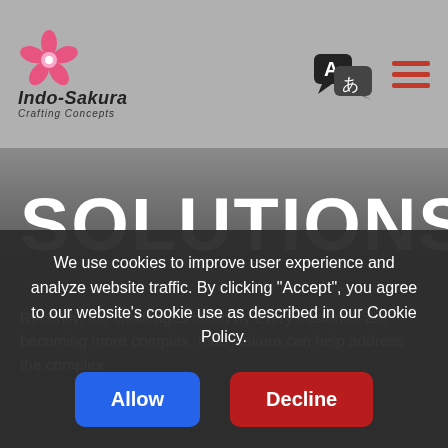[Figure (logo): Indo-Sakura logo with pink cherry blossom flower and text 'Indo-Sakura Crafting Concepts']
SOLUTIONS
Recently, the challenges faced by every customer are becoming more complex. Indo-Sakura can help address the complex
We use cookies to improve user experience and analyze website traffic. By clicking “Accept”, you agree to our website’s cookie use as described in our Cookie Policy.
Allow | Decline